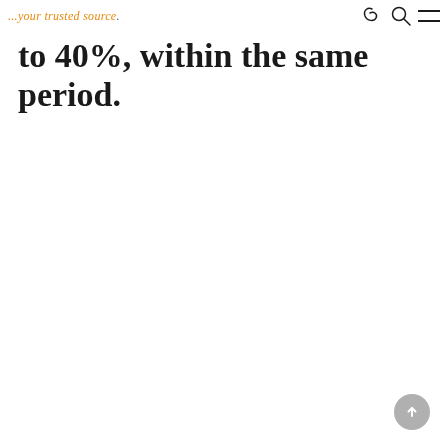...your trusted source.
to 40%, within the same period.